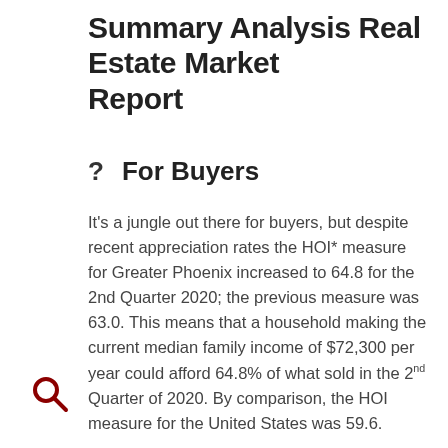Summary Analysis Real Estate Market Report
?   For Buyers
It's a jungle out there for buyers, but despite recent appreciation rates the HOI* measure for Greater Phoenix increased to 64.8 for the 2nd Quarter 2020; the previous measure was 63.0. This means that a household making the current median family income of $72,300 per year could afford 64.8% of what sold in the 2nd Quarter of 2020. By comparison, the HOI measure for the United States was 59.6.
Historically, a normal range for this measure is